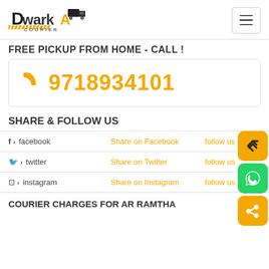[Figure (logo): Dwarka Courier logo with truck icon and yellow stripes]
FREE PICKUP FROM HOME - CALL !
9718934101
SHARE & FOLLOW US
| Social | Share | Follow |
| --- | --- | --- |
| facebook | Share on Facebook | follow us |
| twitter | Share on Twitter | follow us |
| instagram | Share on Instagram | follow us |
COURIER CHARGES FOR AR RAMTHA